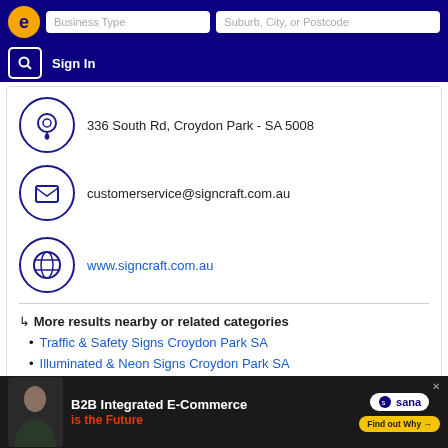[Figure (screenshot): Top navigation bar with logo, search fields for Business Type and Suburb/City/Postcode, and Sign In button on dark blue background]
336 South Rd, Croydon Park - SA 5008
customerservice@signcraft.com.au
www.signcraft.com.au
↳ More results nearby or related categories
Traffic & Safety Signs Croydon Park SA
Illuminated & Neon Signs Croydon Park SA
MacDonald Daynite Signs
[Figure (infographic): Advertisement banner for Sana B2B Integrated E-Commerce with person photo, tagline 'is the Future', and Find out Why button]